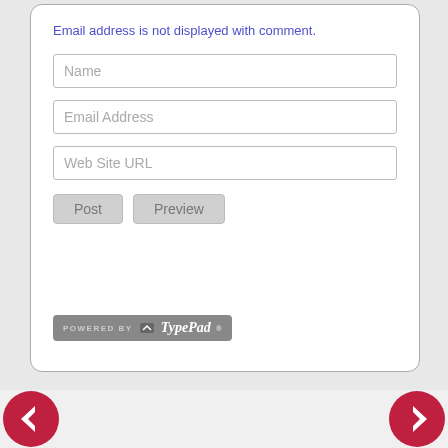Email address is not displayed with comment.
[Figure (screenshot): A web comment form with fields for Name, Email Address, Web Site URL, plus Post and Preview buttons, and a Powered by TypePad badge at the bottom of the card.]
[Figure (infographic): Navigation bar at bottom with a left arrow circle button on the left and a right arrow circle button on the right, both in dark red/crimson color.]